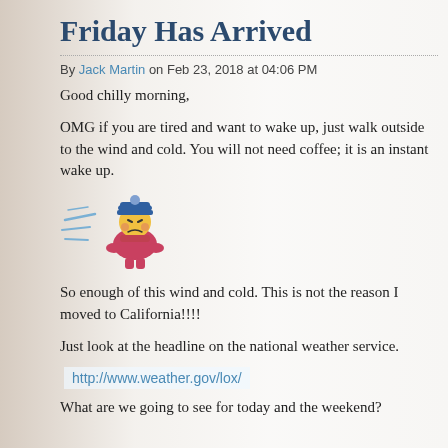Friday Has Arrived
By Jack Martin on Feb 23, 2018 at 04:06 PM
Good chilly morning,
OMG if you are tired and want to wake up, just walk outside to the wind and cold. You will not need coffee; it is an instant wake up.
[Figure (illustration): Pixel art illustration of a character being blown by wind, wearing a winter hat, bundled up in red/pink clothing, with blue wind lines.]
So enough of this wind and cold. This is not the reason I moved to California!!!!
Just look at the headline on the national weather service.
http://www.weather.gov/lox/
What are we going to see for today and the weekend?